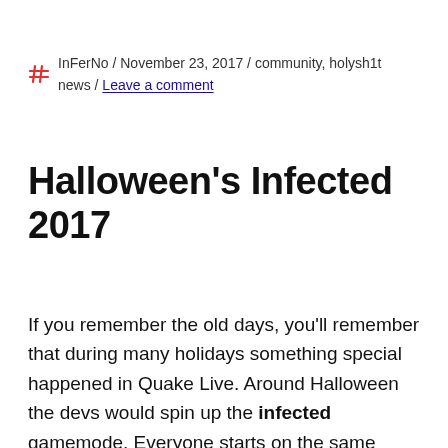InFerNo / November 23, 2017 / community, holysh1t news / Leave a comment
Halloween's Infected 2017
If you remember the old days, you'll remember that during many holidays something special happened in Quake Live. Around Halloween the devs would spin up the infected gamemode. Everyone starts on the same team with a bot AI acting as the mastermind. Whoever he could kill turned to his team until everyone was turned into gauntlet-wielding skeletons.